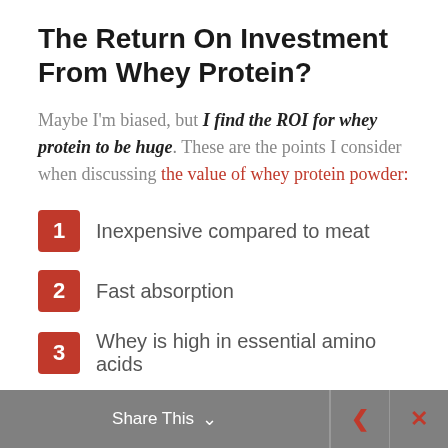The Return On Investment From Whey Protein?
Maybe I'm biased, but I find the ROI for whey protein to be huge. These are the points I consider when discussing the value of whey protein powder:
1 Inexpensive compared to meat
2 Fast absorption
3 Whey is high in essential amino acids
Share This